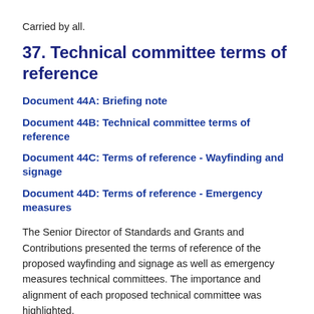Carried by all.
37. Technical committee terms of reference
Document 44A: Briefing note
Document 44B: Technical committee terms of reference
Document 44C: Terms of reference - Wayfinding and signage
Document 44D: Terms of reference - Emergency measures
The Senior Director of Standards and Grants and Contributions presented the terms of reference of the proposed wayfinding and signage as well as emergency measures technical committees. The importance and alignment of each proposed technical committee was highlighted.
23-24 Motion presented and seconded to approve the